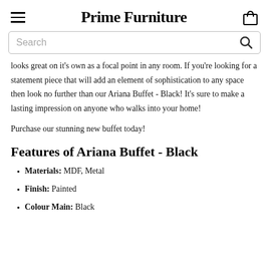Prime Furniture
looks great on it's own as a focal point in any room. If you're looking for a statement piece that will add an element of sophistication to any space then look no further than our Ariana Buffet - Black! It's sure to make a lasting impression on anyone who walks into your home!
Purchase our stunning new buffet today!
Features of Ariana Buffet - Black
Materials: MDF, Metal
Finish: Painted
Colour Main: Black